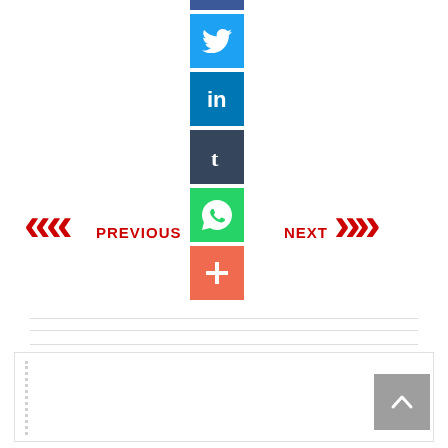[Figure (infographic): Column of social media share buttons: Facebook (blue), Twitter (light blue), LinkedIn (dark blue), Tumblr (dark navy), WhatsApp (green), Plus/More (orange-red)]
[Figure (infographic): PREVIOUS navigation button with red double left chevron arrows]
[Figure (infographic): NEXT navigation button with red double right chevron arrows]
[Figure (infographic): Gray scroll-to-top button with upward caret/chevron icon]